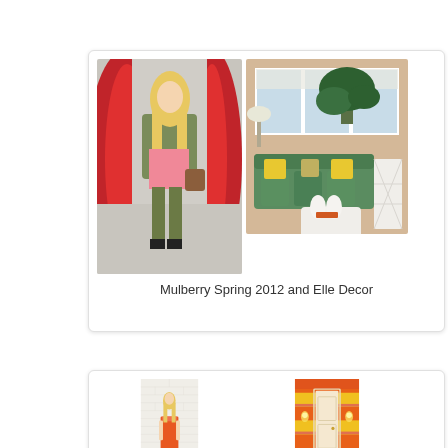[Figure (photo): Two side-by-side photos: left shows a fashion model in green jacket and pink skirt (Mulberry Spring 2012), right shows a bright living room interior with green patterned sofa and yellow pillows (Elle Decor)]
Mulberry Spring 2012 and Elle Decor
[Figure (photo): Two side-by-side photos: left shows a fashion model wearing an orange sleeveless dress against a white brick wall, right shows a colorful hallway with orange, yellow, and pink horizontal stripes on walls and ceiling]